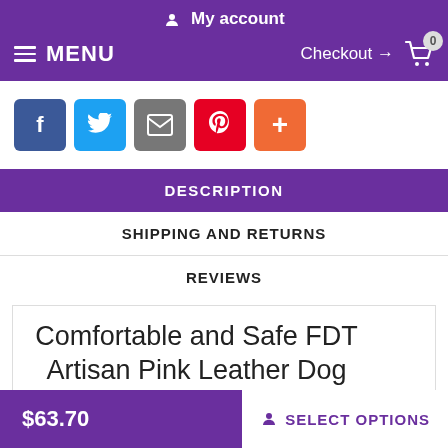My account
MENU  Checkout → 0
[Figure (infographic): Social sharing buttons: Facebook (blue), Twitter (light blue), Email (gray), Pinterest (red), Plus/More (orange)]
DESCRIPTION
SHIPPING AND RETURNS
REVIEWS
Comfortable and Safe FDT Artisan Pink Leather Dog Collar
Are you crazy about stylish accessories? Let your darling English
$63.70  SELECT OPTIONS